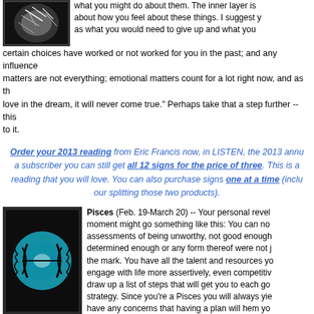[Figure (photo): Framed astrology artwork with dark background, upper portion visible]
what you might do about them. The inner layer is about how you feel about these things. I suggest you as what you would need to give up and what you certain choices have worked or not worked for you in the past; and any influence matters are not everything; emotional matters count for a lot right now, and as the love in the dream, it will never come true." Perhaps take that a step further -- this to it.
Order your 2013 reading from Eric Francis now, in LISTEN, the 2013 annu a subscriber you can still get all 12 signs for the price of three. This is a reading that you will love. You can also purchase signs one at a time (inclu our splitting those two products).
[Figure (photo): Pisces zodiac artwork showing fish symbols in teal/blue circle with dark barbed wire style design on black background]
Pisces (Feb. 19-March 20) -- Your personal revel moment might go something like this: You can no assessments of being unworthy, not good enough determined enough or any form thereof were not j the mark. You have all the talent and resources yo engage with life more assertively, even competitiv draw up a list of steps that will get you to each go strategy. Since you're a Pisces you will always yie have any concerns that having a plan will hem yo notebook that will help you guide your decisions, keep track of your priorities and miss any steps. Your intuition is working just fine. Add logic, reason and some co and you will be unstoppable.